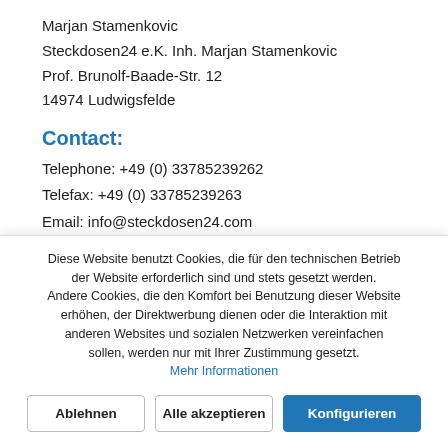Marjan Stamenkovic
Steckdosen24 e.K. Inh. Marjan Stamenkovic
Prof. Brunolf-Baade-Str. 12
14974 Ludwigsfelde
Contact:
Telephone: +49 (0) 33785239262
Telefax: +49 (0) 33785239263
Email: info@steckdosen24.com
Diese Website benutzt Cookies, die für den technischen Betrieb der Website erforderlich sind und stets gesetzt werden. Andere Cookies, die den Komfort bei Benutzung dieser Website erhöhen, der Direktwerbung dienen oder die Interaktion mit anderen Websites und sozialen Netzwerken vereinfachen sollen, werden nur mit Ihrer Zustimmung gesetzt.
Mehr Informationen
Ablehnen
Alle akzeptieren
Konfigurieren